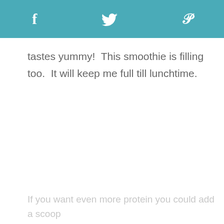f  [twitter]  p
tastes yummy!  This smoothie is filling too.  It will keep me full till lunchtime.
If you want even more protein you could add a scoop